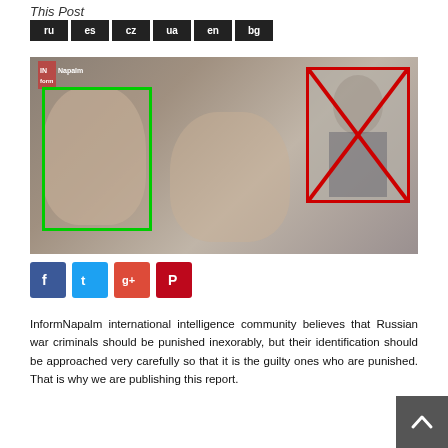This Post
ru  es  cz  ua  en  bg
[Figure (photo): A photo showing two men facing the camera with a green rectangle box around the face of the man on the left. On the right side, a separate inset photo shows a military officer with a red rectangle box and a red X drawn over his face. The background image shows the two men together.]
[Figure (other): Social sharing buttons: Facebook (blue), Twitter (light blue), Google+ (red), Pinterest (red)]
InformNapalm international intelligence community believes that Russian war criminals should be punished inexorably, but their identification should be approached very carefully so that it is the guilty ones who are punished. That is why we are publishing this report.